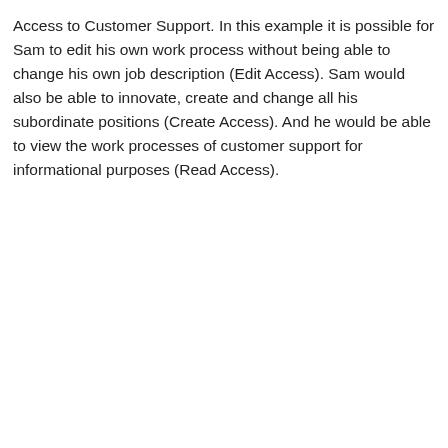Access to Customer Support. In this example it is possible for Sam to edit his own work process without being able to change his own job description (Edit Access). Sam would also be able to innovate, create and change all his subordinate positions (Create Access). And he would be able to view the work processes of customer support for informational purposes (Read Access).